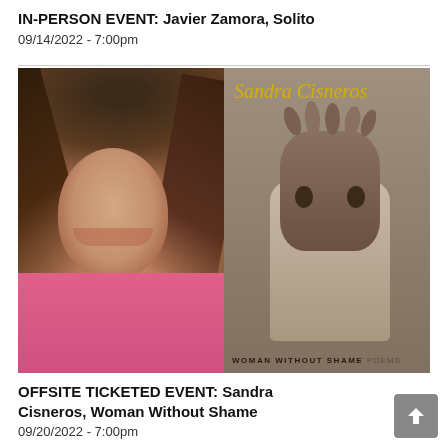IN-PERSON EVENT: Javier Zamora, Solito
09/14/2022 - 7:00pm
[Figure (photo): Left half: photo of Sandra Cisneros, a woman with long flowing dark hair smiling, wearing a pink shirt. Right half: book cover of 'Woman Without Shame: Poems' by Sandra Cisneros showing a figure holding a mask, in grayscale with yellow script author name.]
OFFSITE TICKETED EVENT: Sandra Cisneros, Woman Without Shame
09/20/2022 - 7:00pm